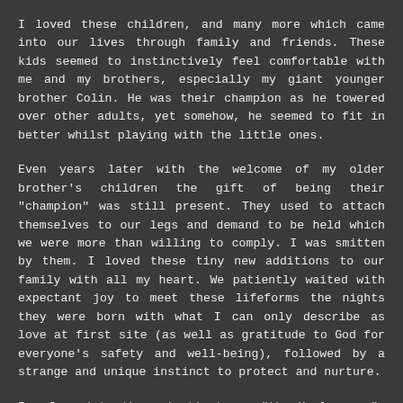I loved these children, and many more which came into our lives through family and friends. These kids seemed to instinctively feel comfortable with me and my brothers, especially my giant younger brother Colin. He was their champion as he towered over other adults, yet somehow, he seemed to fit in better whilst playing with the little ones.
Even years later with the welcome of my older brother's children the gift of being their "champion" was still present. They used to attach themselves to our legs and demand to be held which we were more than willing to comply. I was smitten by them. I loved these tiny new additions to our family with all my heart. We patiently waited with expectant joy to meet these lifeforms the nights they were born with what I can only describe as love at first site (as well as gratitude to God for everyone's safety and well-being), followed by a strange and unique instinct to protect and nurture.
I referred to these instincts as "the Uncle gene", which also served to remind me that I too possessed the desire to have children of my own someday. I wanted my nephew and niece to have cousins, my